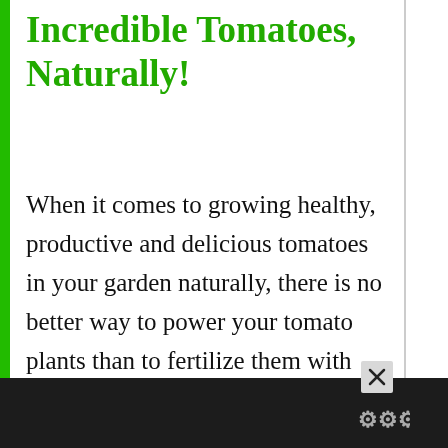Incredible Tomatoes, Naturally!
When it comes to growing healthy, productive and delicious tomatoes in your garden naturally, there is no better way to power your tomato plants than to fertilize them with compost. You simply can't get more organic and natural than compost. Created from the remnants of once living plants and organic material, it is bo… …
[Figure (screenshot): UI overlay widgets: heart/like button (teal circle), share icon, count '5', 'WHAT'S NEXT' promo card with thumbnail and text '5 Things You Should Neve...', bottom ad bar with X close button and logo]